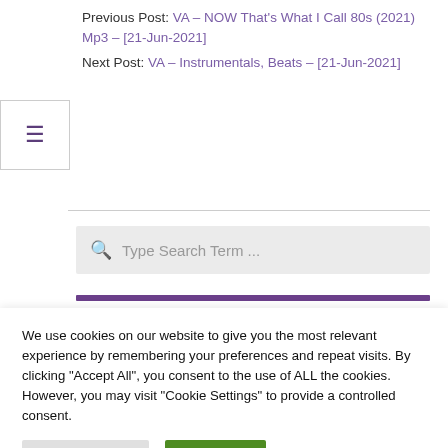Previous Post: VA – NOW That's What I Call 80s (2021) Mp3 – [21-Jun-2021]
Next Post: VA – Instrumentals, Beats – [21-Jun-2021]
[Figure (other): Search bar with magnifying glass icon and placeholder text 'Type Search Term ...']
We use cookies on our website to give you the most relevant experience by remembering your preferences and repeat visits. By clicking "Accept All", you consent to the use of ALL the cookies. However, you may visit "Cookie Settings" to provide a controlled consent.
Cookie Settings | Accept All